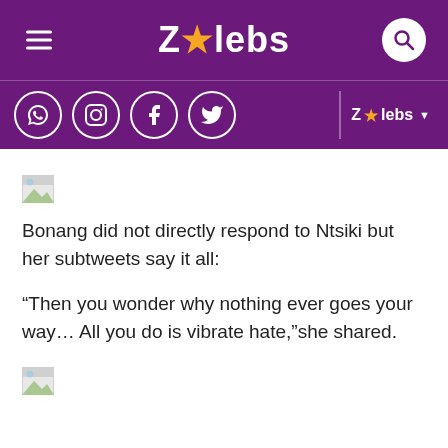ZAlebs
[Figure (screenshot): Broken image placeholder (small torn image icon)]
Bonang did not directly respond to Ntsiki but her subtweets say it all:
“Then you wonder why nothing ever goes your way… All you do is vibrate hate,”she shared.
[Figure (screenshot): Broken image placeholder (small torn image icon)]